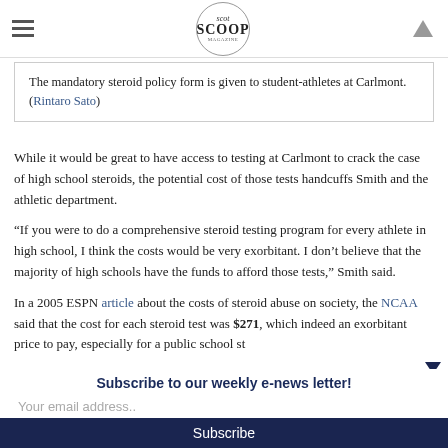scot SCOOP
The mandatory steroid policy form is given to student-athletes at Carlmont. (Rintaro Sato)
While it would be great to have access to testing at Carlmont to crack the case of high school steroids, the potential cost of those tests handcuffs Smith and the athletic department.
“If you were to do a comprehensive steroid testing program for every athlete in high school, I think the costs would be very exorbitant. I don’t believe that the majority of high schools have the funds to afford those tests,” Smith said.
In a 2005 ESPN article about the costs of steroid abuse on society, the NCAA said that the cost for each steroid test was $271, which indeed an exorbitant price to pay, especially for a public school st
Subscribe to our weekly e-news letter!
Your email address..
Subscribe